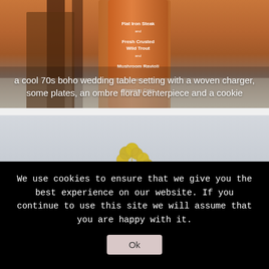[Figure (photo): Photo of orange/amber bottles on a surface with warm tones, appearing to be a restaurant menu or food product display. Text on the bottle reads items like 'Flat Iron Steak', 'Fresh Crusted Wild Trout', 'Mushroom Ravioli', 'Cleaning Cake'.]
a cool 70s boho wedding table setting with a woven charger, some plates, an ombre floral centerpiece and a cookie
[Figure (photo): Photo of yellow craspedia (Billy buttons) flowers on thin stems against a light grey background, with some green foliage visible at the bottom.]
We use cookies to ensure that we give you the best experience on our website. If you continue to use this site we will assume that you are happy with it.